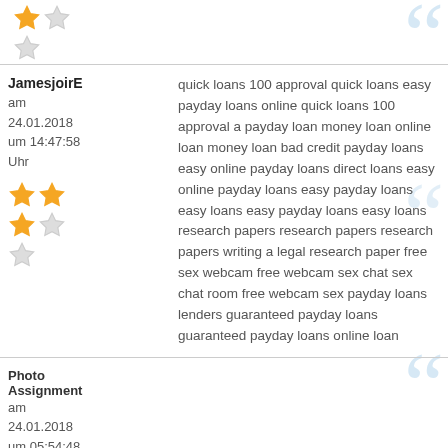[Figure (other): Star rating: 2 out of 5 (partial block at top)]
JamesjoirE
am
24.01.2018
um 14:47:58
Uhr
[Figure (other): Star rating: 2.5 out of 5 for JamesjoirE review]
quick loans 100 approval quick loans easy payday loans online quick loans 100 approval a payday loan money loan online loan money loan bad credit payday loans easy online payday loans direct loans easy online payday loans easy payday loans easy loans easy payday loans easy loans research papers research papers research papers writing a legal research paper free sex webcam free webcam sex chat sex chat room free webcam sex payday loans lenders guaranteed payday loans guaranteed payday loans online loan
Photo Assignment
am
24.01.2018
um 05:54:48
Uhr
writing essays essays writing cause and effect essays essays online